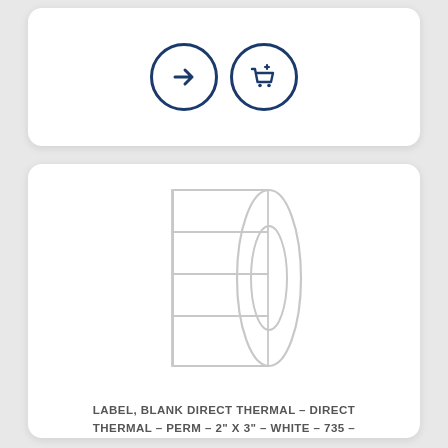[Figure (illustration): Two circular icon buttons with dark blue borders: left has a right arrow, right has a shopping cart with plus sign]
[Figure (illustration): Line drawing of a roll of labels showing stacked rectangular blank labels on a roll with a cylindrical core visible on the right side]
LABEL, BLANK DIRECT THERMAL - DIRECT THERMAL - PERM - 2" X 3" - WHITE - 735 -